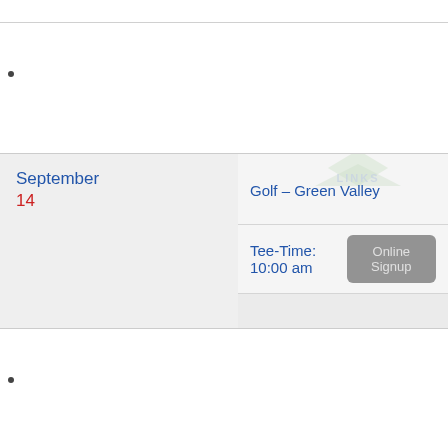September 14 — Golf – Green Valley, Tee-Time: 10:00 am
September 16 — Golf – Laem Chabang, Tee-Time: 10:00 am